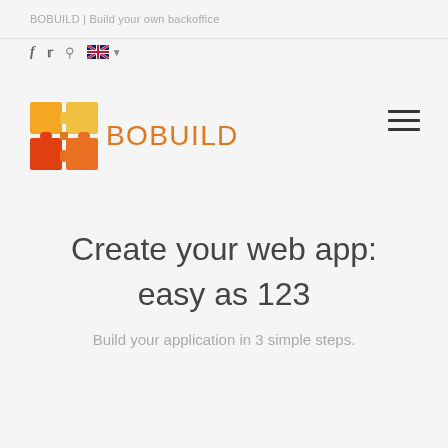BOBUILD | Build your own backoffice
[Figure (logo): BOBUILD logo with puzzle pieces in orange and red/orange colors, followed by the text BOBUILD in orange]
Create your web app:
easy as 123
Build your application in 3 simple steps.